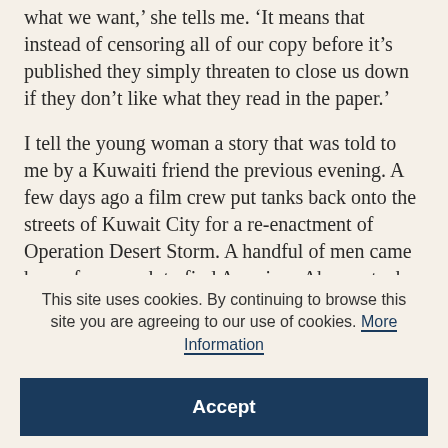what we want,' she tells me. 'It means that instead of censoring all of our copy before it's published they simply threaten to close us down if they don't like what they read in the paper.'
I tell the young woman a story that was told to me by a Kuwaiti friend the previous evening. A few days ago a film crew put tanks back onto the streets of Kuwait City for a re-enactment of Operation Desert Storm. A handful of men came home from work to find American Abrams tanks thundering past their homes. Without pausing for
This site uses cookies. By continuing to browse this site you are agreeing to our use of cookies. More Information
Accept